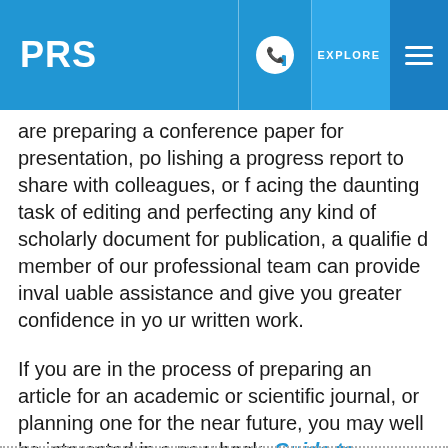PRS | EXPLORE
are preparing a conference paper for presentation, polishing a progress report to share with colleagues, or facing the daunting task of editing and perfecting any kind of scholarly document for publication, a qualified member of our professional team can provide invaluable assistance and give you greater confidence in your written work.
If you are in the process of preparing an article for an academic or scientific journal, or planning one for the near future, you may well be interested in a new book, Guide to Journal Publication, which is available on our Tips and Advice on Publishing Research in Journals website.